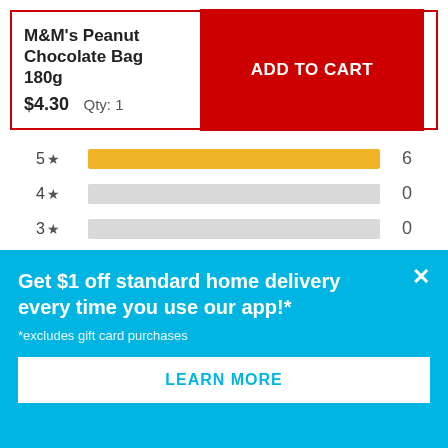M&M's Peanut Chocolate Bag 180g
$4.30  Qty: 1
[Figure (bar-chart): Star Ratings]
Average Customer Ratings
Get $1 off standard home delivery every time you use our app!*
*excludes gift card purchases
LEARN MORE